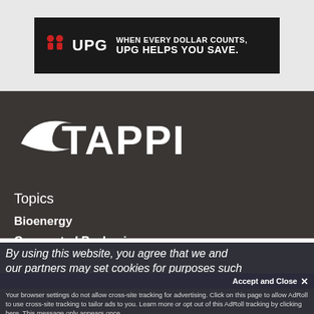[Figure (logo): UPG advertisement banner: black background with UPG logo (two red human figures) and text 'WHEN EVERY DOLLAR COUNTS, UPG HELPS YOU SAVE.']
[Figure (logo): TAPPI logo: white swoosh and bold white TAPPI text on dark brown background]
Topics
Bioenergy
Corrugated Packaging
By using this website, you agree that we and our partners may set cookies for purposes such
Accept and Close ×
Your browser settings do not allow cross-site tracking for advertising. Click on this page to allow AdRoll to use cross-site tracking to tailor ads to you. Learn more or opt out of this AdRoll tracking by clicking here. This message only appears once.